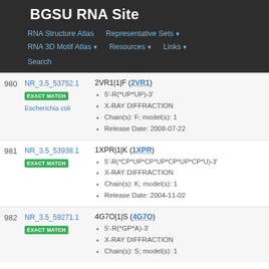BGSU RNA Site
RNA Structure Atlas | Representative Sets ▾ | RNA 3D Motif Atlas ▾ | Resources ▾ | Links ▾ | Search
| # | ID | Details |
| --- | --- | --- |
| 980 | NR_3.5_53752.1
EXACT MATCH
Escherichia coli | 2VR1|1|F (2VR1)
5'-R(*UP*UP)-3'
X-RAY DIFFRACTION
Chain(s): F; model(s): 1
Release Date: 2008-07-22 |
| 981 | NR_3.5_53938.1
EXACT MATCH | 1XPR|1|K (1XPR)
5'-R(*CP*UP*CP*UP*CP*UP*CP*U)-3'
X-RAY DIFFRACTION
Chain(s): K; model(s): 1
Release Date: 2004-11-02 |
| 982 | NR_3.5_59271.1
EXACT MATCH | 4G7O|1|S (4G7O)
5'-R(*GP*A)-3'
X-RAY DIFFRACTION
Chain(s): S; model(s): 1 |